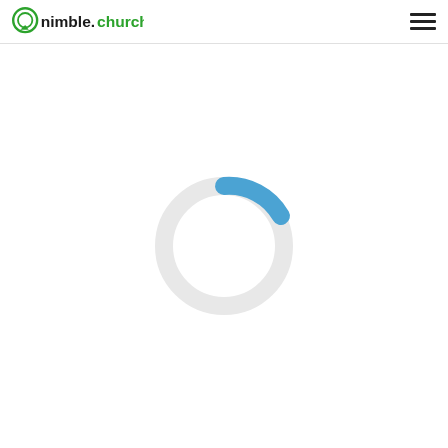nimble.church
[Figure (other): Circular loading spinner with a light gray ring and a blue arc segment covering approximately the top-right quarter of the ring, indicating a loading state.]